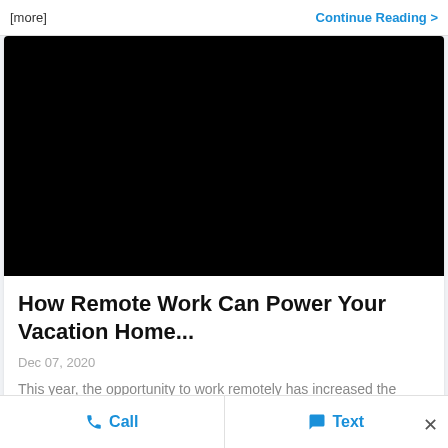[more]
Continue Reading >
[Figure (photo): Black rectangle image placeholder]
How Remote Work Can Power Your Vacation Home...
Dec 07, 2020
This year, the opportunity to work remotely has increased the
Call
Text